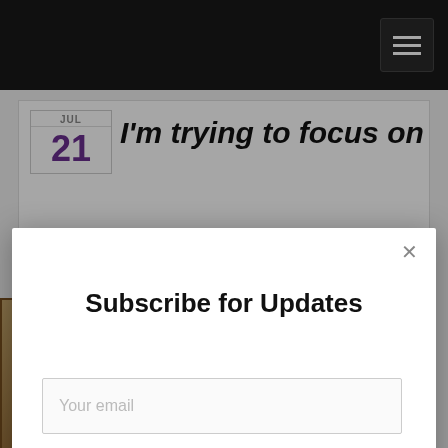Navigation bar with hamburger menu
JUL
21
I'm trying to focus on
[Figure (screenshot): Email subscription modal dialog with title 'Subscribe for Updates', an email input field with placeholder 'Your email', and a black Submit button. A close (×) button appears in the top-right corner.]
AddThis is